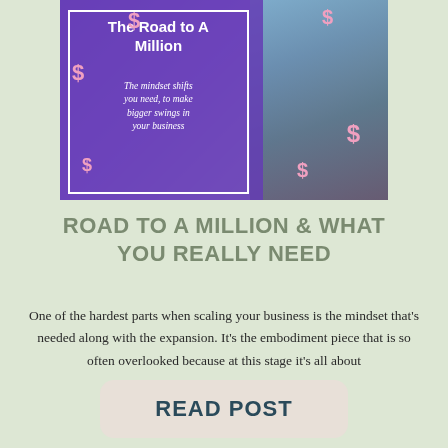[Figure (illustration): Promotional blog post image with purple background showing title 'The Road to A Million' with subtitle 'The mindset shifts you need, to make bigger swings in your business'. Pink dollar signs scattered around. Right side shows a person from behind wearing a teal cap.]
ROAD TO A MILLION & WHAT YOU REALLY NEED
One of the hardest parts when scaling your business is the mindset that's needed along with the expansion. It's the embodiment piece that is so often overlooked because at this stage it's all about
READ POST